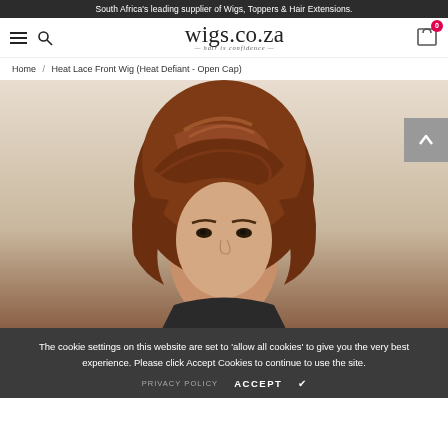South Africa's leading supplier of Wigs, Toppers & Hair Extensions.
[Figure (logo): wigs.co.za logo with tagline 'hair is confidence']
Home / Heat Lace Front Wig (Heat Defiant - Open Cap)
[Figure (photo): Woman wearing a short brown layered wig with bangs, product photo for Heat Lace Front Wig (Heat Defiant - Open Cap)]
The cookie settings on this website are set to 'allow all cookies' to give you the very best experience. Please click Accept Cookies to continue to use the site.
PRIVACY POLICY   ACCEPT ✔